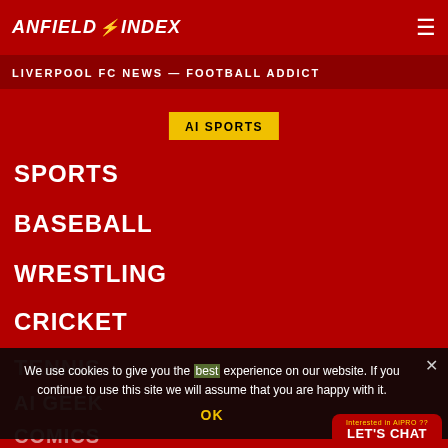ANFIELD INDEX — LIVERPOOL FC NEWS — FOOTBALL ADDICT
AI SPORTS
SPORTS
BASEBALL
WRESTLING
CRICKET
TENNIS
AI GEEK
COMICS
We use cookies to give you the best experience on our website. If you continue to use this site we will assume that you are happy with it.
OK
Interested in AiPRO ?? LET'S CHAT